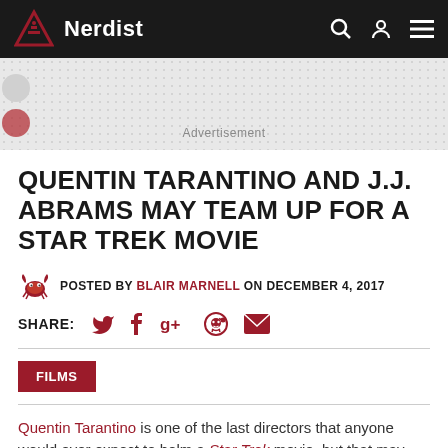Nerdist
[Figure (other): Advertisement banner area with gray dotted background and circular elements on the left side]
QUENTIN TARANTINO AND J.J. ABRAMS MAY TEAM UP FOR A STAR TREK MOVIE
POSTED BY BLAIR MARNELL ON DECEMBER 4, 2017
SHARE:
FILMS
Quentin Tarantino is one of the last directors that anyone would ever expect to helm a Star Trek movie, but that may